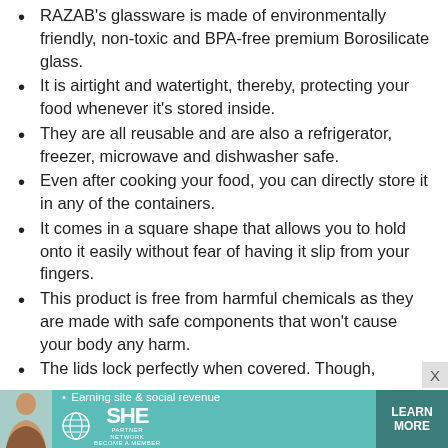RAZAB's glassware is made of environmentally friendly, non-toxic and BPA-free premium Borosilicate glass.
It is airtight and watertight, thereby, protecting your food whenever it's stored inside.
They are all reusable and are also a refrigerator, freezer, microwave and dishwasher safe.
Even after cooking your food, you can directly store it in any of the containers.
It comes in a square shape that allows you to hold onto it easily without fear of having it slip from your fingers.
This product is free from harmful chemicals as they are made with safe components that won't cause your body any harm.
The lids lock perfectly when covered. Though,
[Figure (infographic): SHE Media Partner Network advertisement banner with a woman photo, tagline 'Earning site & social revenue', SHE logo, and 'LEARN MORE' button]